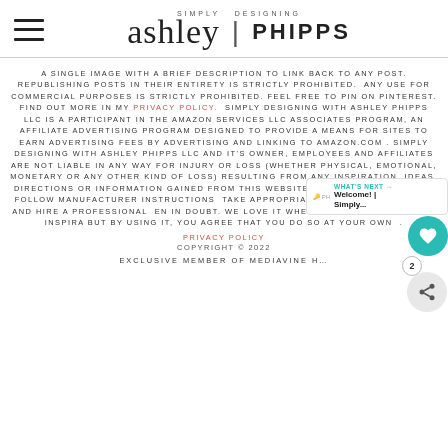Simply Designing ashley | PHIPPS
A SINGLE IMAGE WITH A BRIEF DESCRIPTION TO LINK BACK TO ANY POST. REPUBLISHING POSTS IN THEIR ENTIRETY IS STRICTLY PROHIBITED. ANY USE FOR COMMERCIAL PURPOSES IS STRICTLY PROHIBITED. FEEL FREE TO PIN ON PINTEREST. FIND OUT MORE IN MY PRIVACY POLICY. SIMPLY DESIGNING WITH ASHLEY PHIPPS LLC IS A PARTICIPANT IN THE AMAZON SERVICES LLC ASSOCIATES PROGRAM, AN AFFILIATE ADVERTISING PROGRAM DESIGNED TO PROVIDE A MEANS FOR SITES TO EARN ADVERTISING FEES BY ADVERTISING AND LINKING TO AMAZON.COM . SIMPLY DESIGNING WITH ASHLEY PHIPPS LLC AND IT'S OWNER, EMPLOYEES AND AFFILIATES ARE NOT LIABLE IN ANY WAY FOR INJURY OR LOSS (WHETHER PHYSICAL, EMOTIONAL, MONETARY OR ANY OTHER KIND OF LOSS) RESULTING FROM ANY INSPIRATION, IDEAS, DIRECTIONS OR INFORMATION GAINED FROM THIS WEBSITE. ADVISE YOU TO ALWAYS FOLLOW MANUFACTURER INSTRUCTIONS TAKE APPROPRIATE SAFETY PRECAUTIONS AND HIRE A PROFESSIONAL EN IN DOUBT. WE LOVE IT WHEN YOU USE OUR SITE FOR INSPIRA BUT BY USING IT, YOU AGREE THAT YOU DO SO AT YOUR OWN .
PRIVACY POLICY
COPYRIGHT © 2022
EXCLUSIVE MEMBER OF MEDIAVINE H...